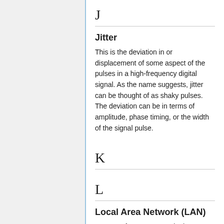J
Jitter
This is the deviation in or displacement of some aspect of the pulses in a high-frequency digital signal. As the name suggests, jitter can be thought of as shaky pulses. The deviation can be in terms of amplitude, phase timing, or the width of the signal pulse.
K
L
Local Area Network (LAN)
A group of computers and other devices